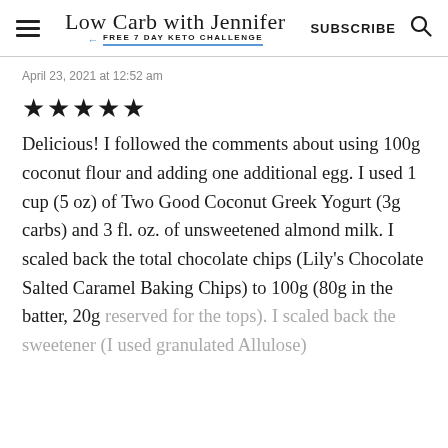Low Carb with Jennifer FREE 7 DAY KETO CHALLENGE | SUBSCRIBE
April 23, 2021 at 12:52 am
★★★★★
Delicious! I followed the comments about using 100g coconut flour and adding one additional egg. I used 1 cup (5 oz) of Two Good Coconut Greek Yogurt (3g carbs) and 3 fl. oz. of unsweetened almond milk. I scaled back the total chocolate chips (Lily's Chocolate Salted Caramel Baking Chips) to 100g (80g in the batter, 20g reserved for the tops). I scaled back the sweetener (I used granulated Allulose)